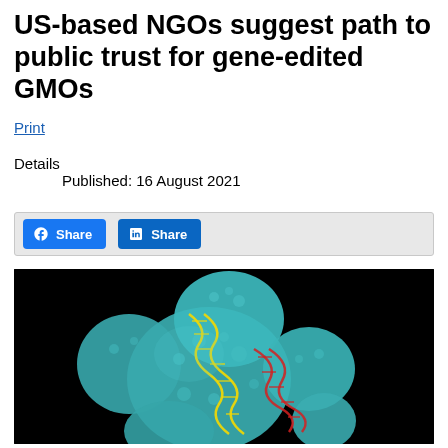US-based NGOs suggest path to public trust for gene-edited GMOs
Print
Details
Published: 16 August 2021
[Figure (photo): 3D rendering of teal/cyan colored biological cells on a black background with yellow and red DNA double-helix strands visible between and around the cells]
Share (Facebook) Share (LinkedIn)